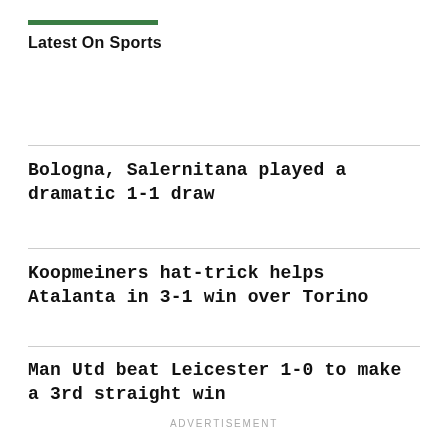Latest On Sports
Bologna, Salernitana played a dramatic 1-1 draw
Koopmeiners hat-trick helps Atalanta in 3-1 win over Torino
Man Utd beat Leicester 1-0 to make a 3rd straight win
ADVERTISEMENT